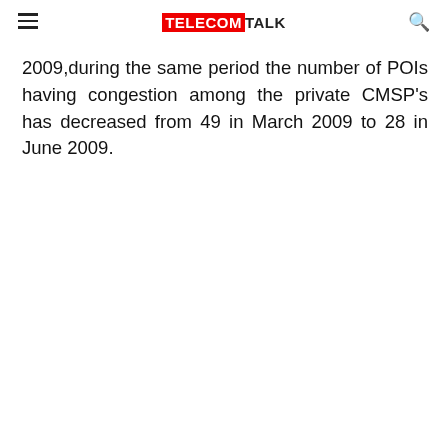TELECOMTALK
2009,during the same period the number of POIs having congestion among the private CMSP’s has decreased from 49 in March 2009 to 28 in June 2009.